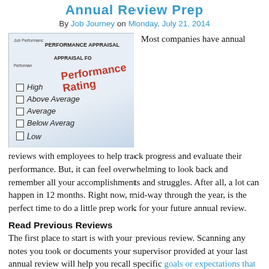Annual Review Prep
By Job Journey on Monday, July 21, 2014
[Figure (photo): Performance appraisal form showing 'Performance Rating' with checkboxes for High, Above Average, Average, Below Average, Low]
Most companies have annual reviews with employees to help track progress and evaluate their performance. But, it can feel overwhelming to look back and remember all your accomplishments and struggles. After all, a lot can happen in 12 months. Right now, mid-way through the year, is the perfect time to do a little prep work for your future annual review.
Read Previous Reviews
The first place to start is with your previous review. Scanning any notes you took or documents your supervisor provided at your last annual review will help you recall specific goals or expectations that you set for the year. It may also help to review several of your previous reviews so you have a good picture of your long-term growth.